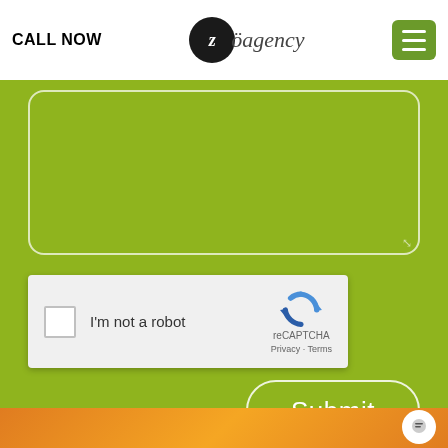CALL NOW | zöagency
[Figure (screenshot): reCAPTCHA widget with checkbox labeled I'm not a robot, reCAPTCHA logo, Privacy and Terms links]
Submit
[Figure (other): Orange decorative bottom strip with chat bubble icon]